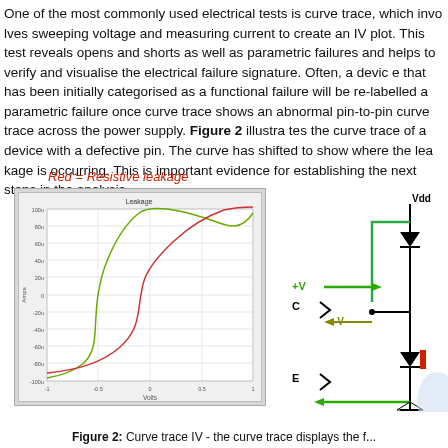One of the most commonly used electrical tests is curve trace, which involves sweeping voltage and measuring current to create an IV plot. This test reveals opens and shorts as well as parametric failures and helps to verify and visualise the electrical failure signature. Often, a device that has been initially categorised as a functional failure will be re-labelled a parametric failure once curve trace shows an abnormal pin-to-pin curve trace across the power supply. Figure 2 illustrates the curve trace of a device with a defective pin. The curve has shifted to show where the leakage is occurring. This important evidence for establishing the next steps in the analysis.
[Figure (continuous-plot): IV curve trace plot showing Amps (y-axis, -100u to 100u) vs Volts (x-axis, -1 to 1). Two curves shown: a normal green S-shaped curve and a red shifted curve indicating resistive leakage. Red = Resistive leakage label shown above chart.]
[Figure (schematic): Circuit schematic showing a transistor (BJT) with connections labeled Vdd (top), +V (left input), C (collector), -V (label), E (emitter), with diode symbols and directional arrows. Partial view cut off on right side.]
Figure 2: Curve trace IV - the curve trace displays the f...